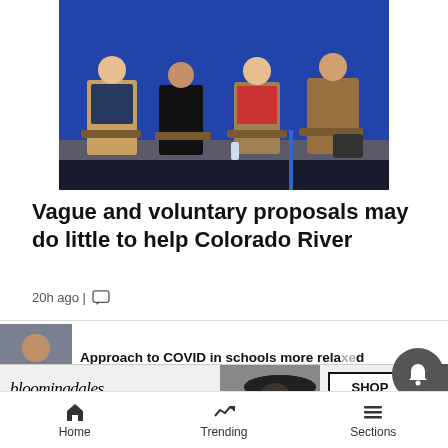[Figure (photo): Panel discussion on stage with four people seated in chairs against a blue curtain backdrop at a conference.]
Vague and voluntary proposals may do little to help Colorado River
20h ago |
[Figure (photo): Thumbnail image of a person for a second article about COVID in schools.]
Approach to COVID in schools more relaxed
[Figure (other): Bloomingdale's advertisement banner: bloomingdales View Today's Top Deals! SHOP NOW >]
Home  Trending  Sections